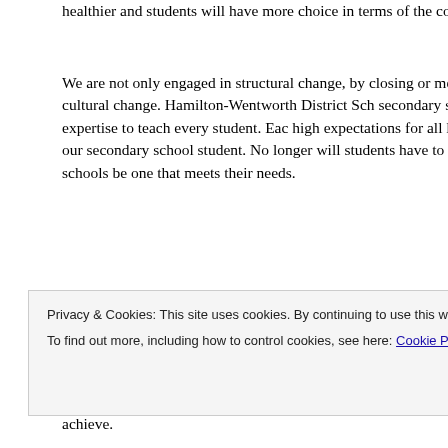healthier and students will have more choice in terms of the cou
We are not only engaged in structural change, by closing or mer engaged in a cultural change. Hamilton-Wentworth District Sch secondary schools has the expertise to teach every student. Each high expectations for all learners. Each of our secondary school student. No longer will students have to go to certain schools be one that meets their needs.
Our goal is that every student graduates and is provided the lear them well after they leave our secondary schools.
Though our graduation rate continues to increase in our Board, students, and we will. I accept the fact that there are challenges achieve.
Privacy & Cookies: This site uses cookies. By continuing to use this website, you agree to their use.
To find out more, including how to control cookies, see here: Cookie Policy
Close and accept